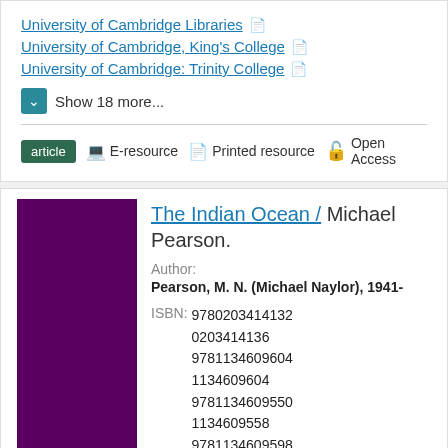University of Cambridge Libraries
University of Cambridge, King's College
University of Cambridge: Trinity College
Show 18 more...
article   E-resource   Printed resource   Open Access
The Indian Ocean / Michael Pearson.
Author: Pearson, M. N. (Michael Naylor), 1941-
ISBN: 9780203414132 0203414136 9781134609604 1134609604 9781134609550 1134609558 9781134609598 1134609590